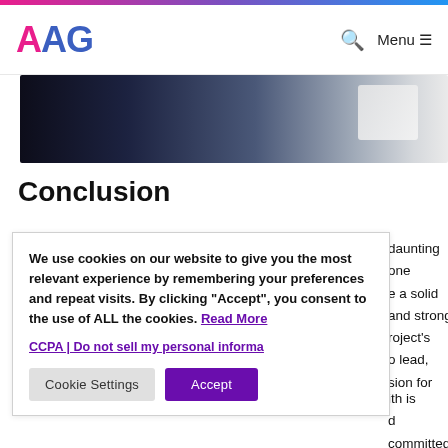AAG — Menu
[Figure (photo): Partial photo of a person in a dark jacket with white papers, cropped at top of page]
Conclusion
We use cookies on our website to give you the most relevant experience by remembering your preferences and repeat visits. By clicking "Accept", you consent to the use of ALL the cookies. Read More
CCPA | Do not sell my personal informa
daunting one
e a solid
and strong
roject's
o lead,
sion for
ith is
d committed.
for